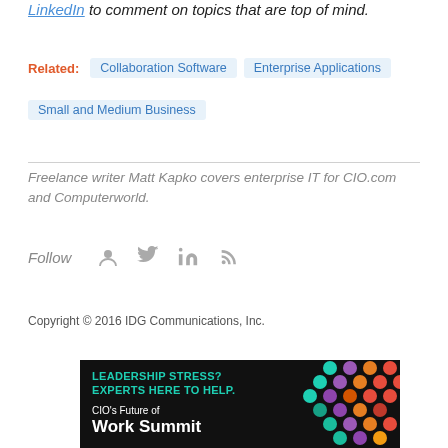LinkedIn to comment on topics that are top of mind.
Related: Collaboration Software  Enterprise Applications  Small and Medium Business
Freelance writer Matt Kapko covers enterprise IT for CIO.com and Computerworld.
Follow
Copyright © 2016 IDG Communications, Inc.
[Figure (illustration): Advertisement banner for CIO's Future of Work Summit. Dark background with colorful dots pattern on the right. Text reads: LEADERSHIP STRESS? EXPERTS HERE TO HELP. CIO's Future of Work Summit]